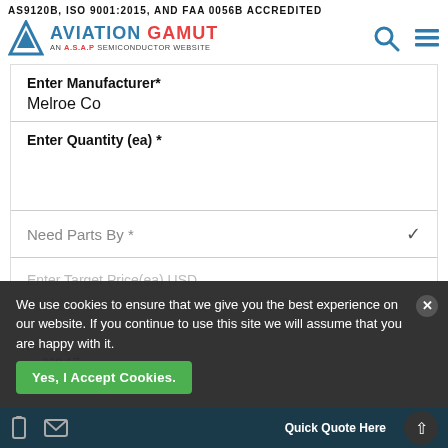AS9120B, ISO 9001:2015, AND FAA 0056B ACCREDITED
[Figure (logo): Aviation Gamut logo - triangle mountain icon with AVIATION GAMUT text and AN A.S.A.P SEMICONDUCTOR WEBSITE subtitle]
Enter Manufacturer*
Melroe Co
Enter Quantity (ea) *
Need Parts By *
Enter Target Price(ea) USD
We use cookies to ensure that we give you the best experience on our website. If you continue to use this site we will assume that you are happy with it.
Yes, I Accept Cookies.
Quick Quote Here